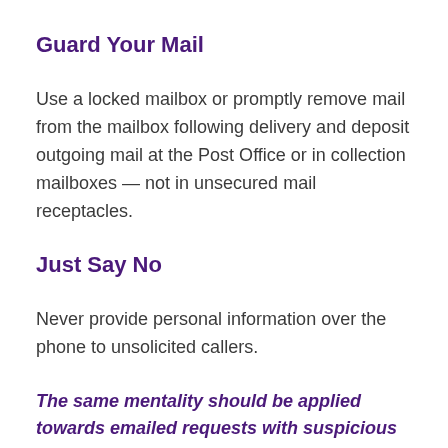Guard Your Mail
Use a locked mailbox or promptly remove mail from the mailbox following delivery and deposit outgoing mail at the Post Office or in collection mailboxes — not in unsecured mail receptacles.
Just Say No
Never provide personal information over the phone to unsolicited callers.
The same mentality should be applied towards emailed requests with suspicious links